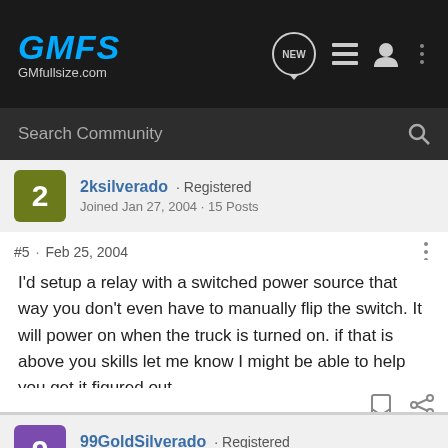GMFS GMfullsize.com
Search Community
2ksilverado · Registered
Joined Jan 27, 2004 · 15 Posts
#5 · Feb 25, 2004
I'd setup a relay with a switched power source that way you don't even have to manually flip the switch. It will power on when the truck is turned on. if that is above you skills let me know I might be able to help you get it figured out.
99GoldSilverado · Registered
Joined Feb 24, 2004 · 21 Posts